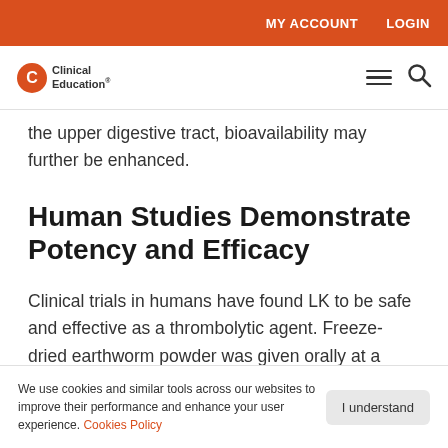MY ACCOUNT   LOGIN
[Figure (logo): Clinical Education logo with orange circular icon and text]
the upper digestive tract, bioavailability may further be enhanced.
Human Studies Demonstrate Potency and Efficacy
Clinical trials in humans have found LK to be safe and effective as a thrombolytic agent. Freeze-dried earthworm powder was given orally at a dosage of
We use cookies and similar tools across our websites to improve their performance and enhance your user experience. Cookies Policy